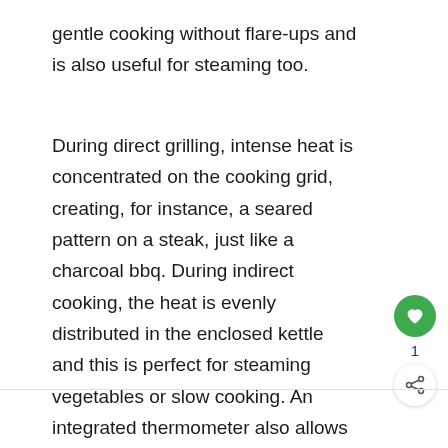gentle cooking without flare-ups and is also useful for steaming too.
During direct grilling, intense heat is concentrated on the cooking grid, creating, for instance, a seared pattern on a steak, just like a charcoal bbq. During indirect cooking, the heat is evenly distributed in the enclosed kettle and this is perfect for steaming vegetables or slow cooking. An integrated thermometer also allows you to monitor the temperature inside the kettle and you can adjust the heat output of each burner as well.